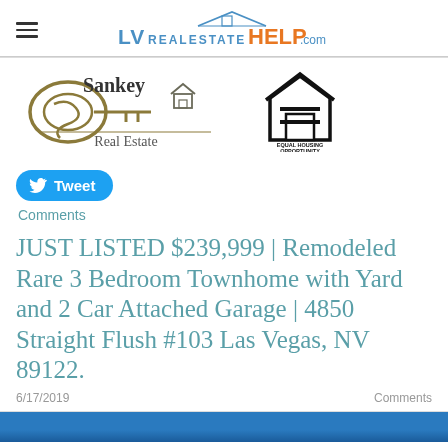LVrealestateHELP.com
[Figure (logo): Sankey Real Estate logo with stylized 'S' key and house graphic]
[Figure (logo): Equal Housing Opportunity logo — house with equals sign]
Tweet
Comments
JUST LISTED $239,999 | Remodeled Rare 3 Bedroom Townhome with Yard and 2 Car Attached Garage | 4850 Straight Flush #103 Las Vegas, NV 89122.
6/17/2019
Comments
[Figure (photo): Blue sky photo strip at bottom of page]